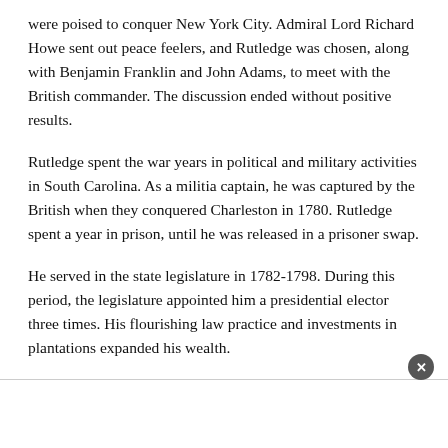were poised to conquer New York City. Admiral Lord Richard Howe sent out peace feelers, and Rutledge was chosen, along with Benjamin Franklin and John Adams, to meet with the British commander. The discussion ended without positive results.
Rutledge spent the war years in political and military activities in South Carolina. As a militia captain, he was captured by the British when they conquered Charleston in 1780. Rutledge spent a year in prison, until he was released in a prisoner swap.
He served in the state legislature in 1782-1798. During this period, the legislature appointed him a presidential elector three times. His flourishing law practice and investments in plantations expanded his wealth.
By the time he was elected governor, in 1798, his health was...